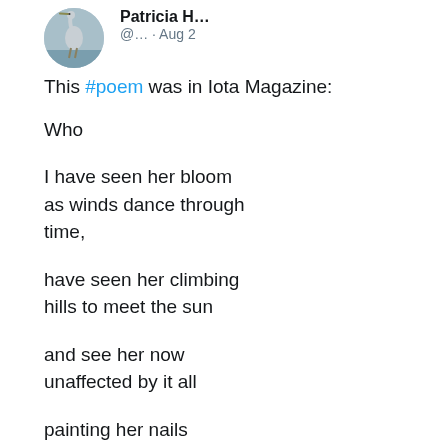[Figure (photo): Twitter/social media post by Patricia H... (@...) posted Aug 2, showing a heron avatar photo and a blue Twitter bird icon]
This #poem was in Iota Magazine:
Who

I have seen her bloom
as winds dance through time,

have seen her climbing
hills to meet the sun

and see her now
unaffected by it all

painting her nails
the colour of stone

moving alone
through the snows.